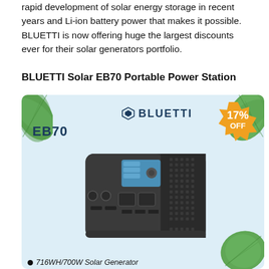rapid development of solar energy storage in recent years and Li-ion battery power that makes it possible. BLUETTI is now offering huge the largest discounts ever for their solar generators portfolio.
BLUETTI Solar EB70 Portable Power Station
[Figure (photo): BLUETTI EB70 portable power station product image on a light blue background with palm leaf decorations and a 17% OFF orange badge. The unit is a dark grey rectangular device with BLUETTI branding, display screen, and multiple ports. Text: EB70, BLUETTI logo, 17% OFF. Bottom caption: 716WH/700W Solar Generator.]